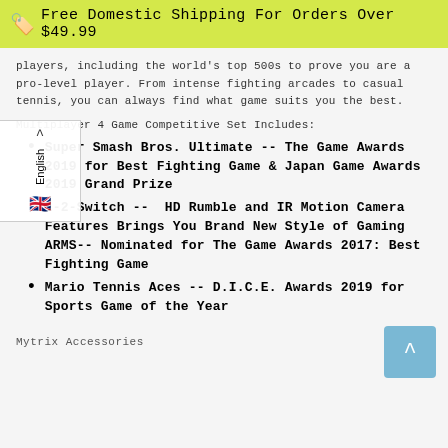🏷 Free Domestic Shipping For Orders Over $49.99
players, including the world's top 500s to prove you are a pro-level player. From intense fighting arcades to casual tennis, you can always find what game suits you the best.
Multiplayer 4 Game Competitive Set Includes:
Super Smash Bros. Ultimate -- The Game Awards 2019 for Best Fighting Game & Japan Game Awards 2019 Grand Prize
1-2-Switch --  HD Rumble and IR Motion Camera Features Brings You Brand New Style of Gaming ARMS-- Nominated for The Game Awards 2017: Best Fighting Game
Mario Tennis Aces -- D.I.C.E. Awards 2019 for Sports Game of the Year
Mytrix Accessories